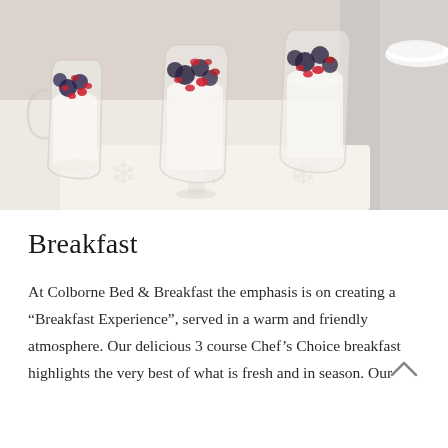[Figure (photo): Three glass mugs filled with white cream/yogurt and topped with fresh berries including blueberries and pomegranate seeds, arranged on a decorative white tray with a soft grey background.]
Breakfast
At Colborne Bed & Breakfast the emphasis is on creating a “Breakfast Experience”, served in a warm and friendly atmosphere. Our delicious 3 course Chef’s Choice breakfast highlights the very best of what is fresh and in season. Our